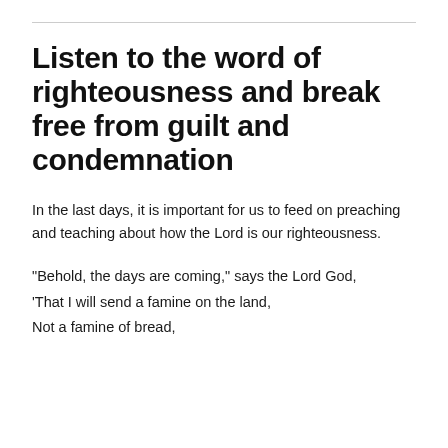Listen to the word of righteousness and break free from guilt and condemnation
In the last days, it is important for us to feed on preaching and teaching about how the Lord is our righteousness.
“Behold, the days are coming,” says the Lord God,
‘That I will send a famine on the land,
Not a famine of bread,